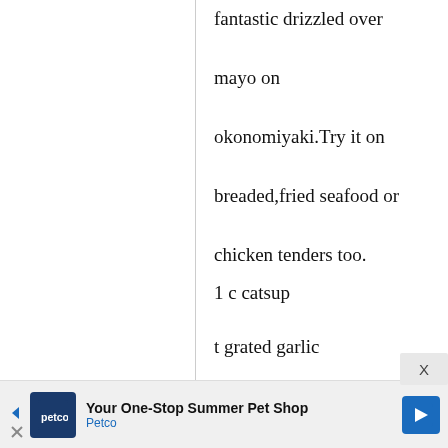fantastic drizzled over mayo on okonomiyaki.Try it on breaded,fried seafood or chicken tenders too.
1 c catsup
t grated garlic
t soy sauce
T worcestershire sauce
t wine,sake or mirin
t grated ginger
2 T brown sugar
[Figure (other): Petco advertisement banner: 'Your One-Stop Summer Pet Shop' with Petco logo and navigation arrow icon]